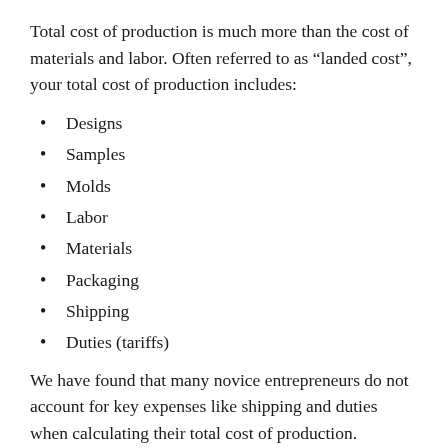Total cost of production is much more than the cost of materials and labor. Often referred to as “landed cost”, your total cost of production includes:
Designs
Samples
Molds
Labor
Materials
Packaging
Shipping
Duties (tariffs)
We have found that many novice entrepreneurs do not account for key expenses like shipping and duties when calculating their total cost of production.